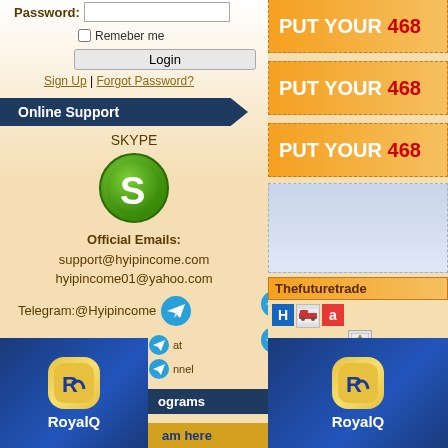Password:
Remeber me
Login
Sign Up | Forgot Password?
Online Support
SKYPE
[Figure (logo): Skype green logo icon]
Official Emails:
support@hyipincome.com
hyipincome01@yahoo.com
Telegram:@Hyipincome
[Figure (logo): RoyalQ logo - bottom left]
RoyalQ
ograms
am here
[Figure (infographic): PUT YOUR 468 ad banner 1]
[Figure (infographic): PUT YOUR 468 ad banner 2]
[Figure (infographic): PUT YOUR 468 ad banner 3]
Thefuturetrade
[Figure (logo): H icon, red car icon, a icon, AHM link]
[Figure (logo): RoyalQ logo - bottom right]
RoyalQ